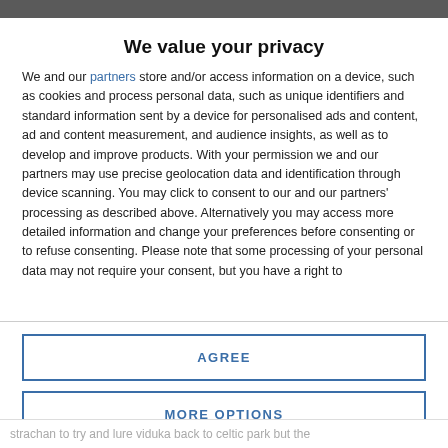We value your privacy
We and our partners store and/or access information on a device, such as cookies and process personal data, such as unique identifiers and standard information sent by a device for personalised ads and content, ad and content measurement, and audience insights, as well as to develop and improve products. With your permission we and our partners may use precise geolocation data and identification through device scanning. You may click to consent to our and our partners' processing as described above. Alternatively you may access more detailed information and change your preferences before consenting or to refuse consenting. Please note that some processing of your personal data may not require your consent, but you have a right to
AGREE
MORE OPTIONS
strachan to try and lure viduka back to celtic park but the